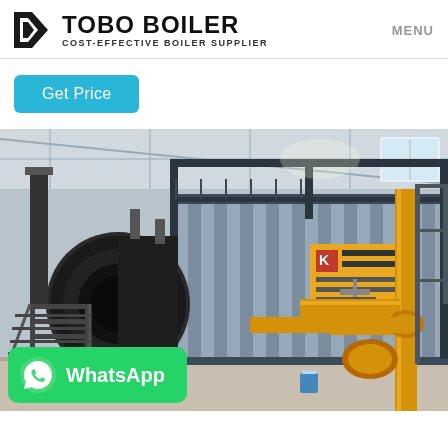TOBO BOILER — COST-EFFECTIVE BOILER SUPPLIER | MENU
Get Price
[Figure (photo): Industrial gas-fired boiler installation inside a large factory building. Shows a large cylindrical black boiler on the left with yellow gas supply pipes, connected to a corrugated metal boiler body with Chinese manufacturer logo. Industrial warehouse setting with steel scaffolding and interior lighting.]
WhatsApp